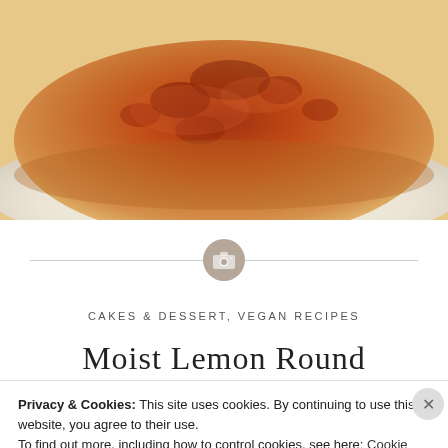[Figure (photo): Close-up photo of a golden-brown baked lemon pound cake on a white plate, showing caramelized top crust]
[Figure (illustration): Camera icon inside a light brown/tan circle, centered on a horizontal divider line separating the photo from the text content below]
CAKES & DESSERT, VEGAN RECIPES
Moist Lemon Round
Privacy & Cookies: This site uses cookies. By continuing to use this website, you agree to their use.
To find out more, including how to control cookies, see here: Cookie Policy
Close and accept